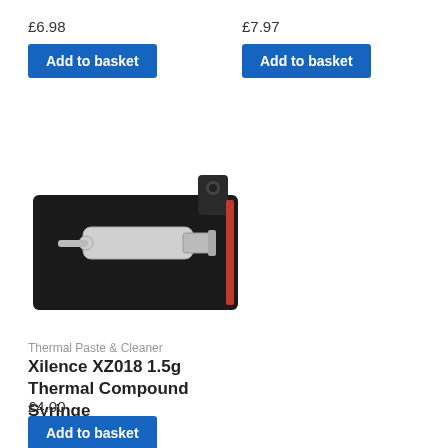£6.98
Add to basket
£7.97
Add to basket
[Figure (photo): Xilence XZ018 1.5g Thermal Compound Syringe product photo on black blister packaging]
Thermal Paste & Cleaner
Xilence XZ018 1.5g Thermal Compound Syringe
£4.00
Add to basket